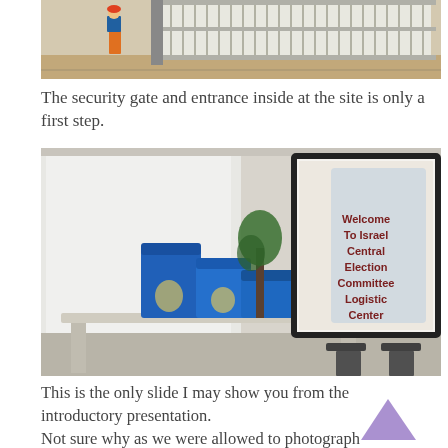[Figure (photo): Photo of a security gate and entrance at a site, showing a worker in orange and a large metal gate structure.]
The security gate and entrance inside at the site is only a first step.
[Figure (photo): Interior room with blue ballot boxes on a table and a projected presentation slide reading: Welcome To Israel Central Election Committee Logistic Center.]
This is the only slide I may show you from the introductory presentation. Not sure why as we were allowed to photograph everything else in the building.